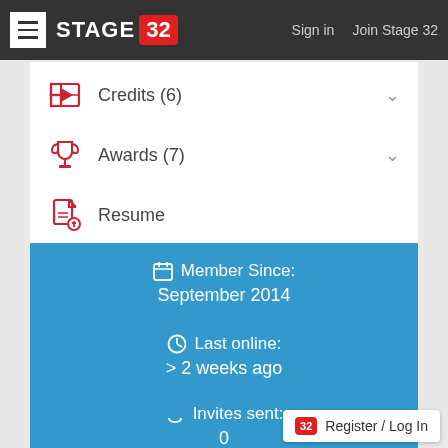≡ STAGE 32   Sign in   Join Stage 32
Credits (6)
Awards (7)
Resume
Member Since: September 2014
Last online: > 2 weeks ago
Invites sent: 0
Register / Log In